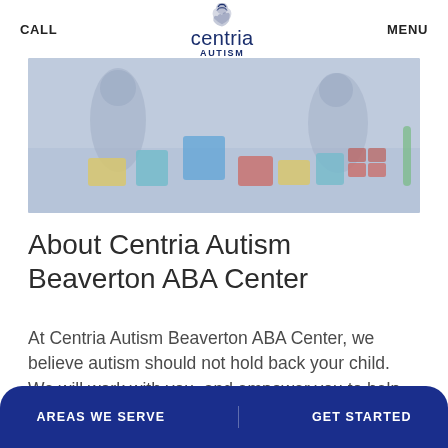CALL | centria AUTISM | MENU
[Figure (photo): Children playing with colorful plastic building blocks on the floor, blurred/muted photo]
About Centria Autism Beaverton ABA Center
At Centria Autism Beaverton ABA Center, we believe autism should not hold back your child. We will work with you, and empower you to help bring out the best in your child. Our ABA therapy programs, both in-house and center-based, focus on early intensive behavioral
AREAS WE SERVE   GET STARTED